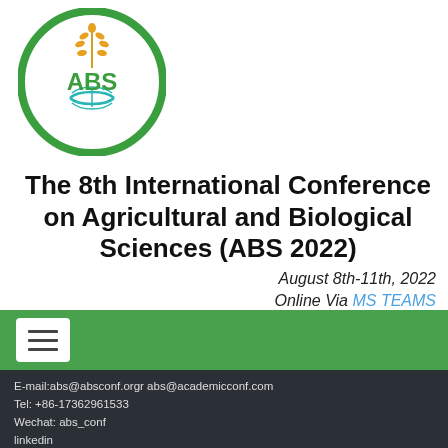[Figure (logo): ABS International Conference on Agricultural and Biological Sciences circular logo with green border, wheat/grain symbol, DNA helix in teal, and 'ABS' in green center text]
The 8th International Conference on Agricultural and Biological Sciences (ABS 2022)
August 8th-11th, 2022
Online Via MS TEAMS
E-mail:abs@absconf.orgr abs@academicconf.com
Tel: +86-17362961533
Wechat: abs_conf
linkedin
Copyright © ABS 2022! All rights reserved.